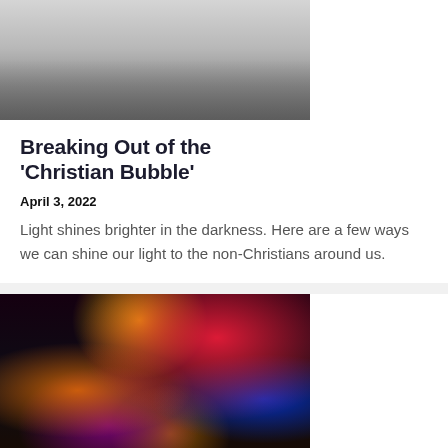[Figure (photo): Top portion of photo showing group of people walking, cropped to show only their legs and lower bodies]
Breaking Out of the ‘Christian Bubble’
April 3, 2022
Light shines brighter in the darkness. Here are a few ways we can shine our light to the non-Christians around us.
[Figure (photo): Night photo of Times Square, New York City, with bright neon and LED billboard lights, a person in a beige hoodie standing in the foreground looking up at the buildings]